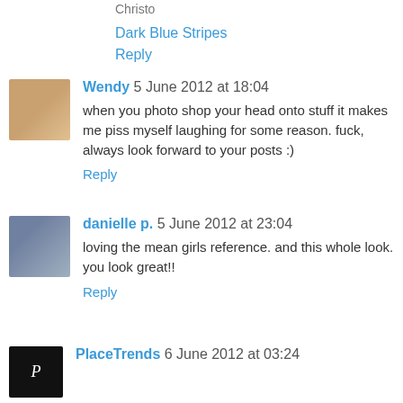Christo
Dark Blue Stripes
Reply
Wendy 5 June 2012 at 18:04
when you photo shop your head onto stuff it makes me piss myself laughing for some reason. fuck, always look forward to your posts :)
Reply
danielle p. 5 June 2012 at 23:04
loving the mean girls reference. and this whole look. you look great!!
Reply
PlaceTrends 6 June 2012 at 03:24